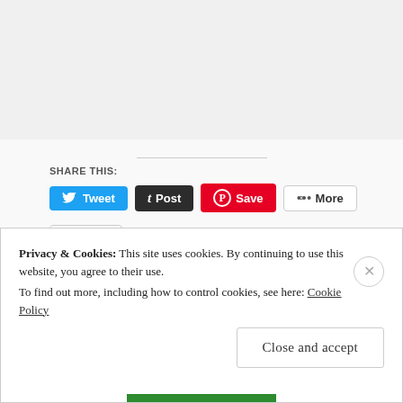SHARE THIS:
[Figure (screenshot): Social share buttons: Tweet (Twitter/blue), Post (Tumblr/dark), Save (Pinterest/red), More (grey outline)]
[Figure (screenshot): Like button with blue star icon and text 'Like']
Be the first to like this.
POSTED IN RESTAURANTS, RIO DE JANEIRO | TAGGED BEACH, BRASIL, BRAZIL, FISH, FOOD, FOODIE, IPANEMA, MAHI MAHI, RESTAURANT, RIO, RIO DE JANEIRO, ROSE, SASHIMI, TARTARE, TUNA, WINE
Privacy & Cookies: This site uses cookies. By continuing to use this website, you agree to their use.
To find out more, including how to control cookies, see here: Cookie Policy
Close and accept